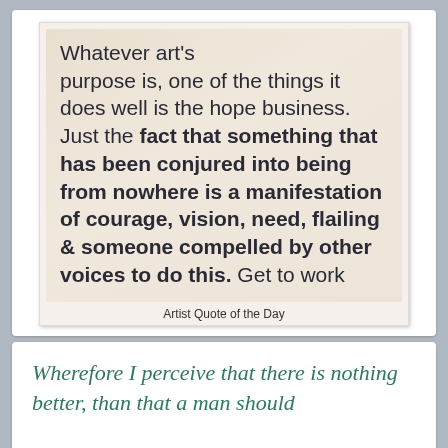[Figure (photo): Polaroid-style photo card showing large dark text quote on a beige/cream background]
Artist Quote of the Day
Wherefore I perceive that there is nothing better, than that a man should